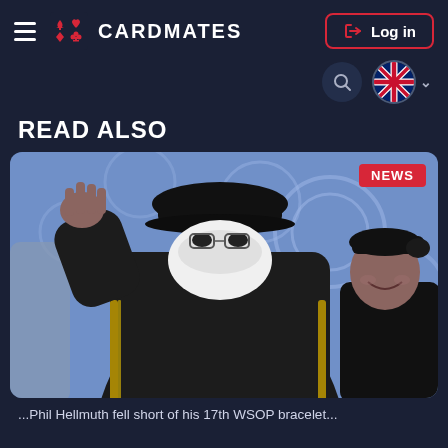CARDMATES
READ ALSO
[Figure (photo): A large man wearing a black jacket with gold stripes, a black cap, and a white face mask, raising his hand. Another man in a black outfit smiles in the background. A blue-themed poker tournament backdrop is visible. A red 'NEWS' badge is in the top right of the image.]
Phil Hellmuth fell short of his 17th WSOP bracelet...